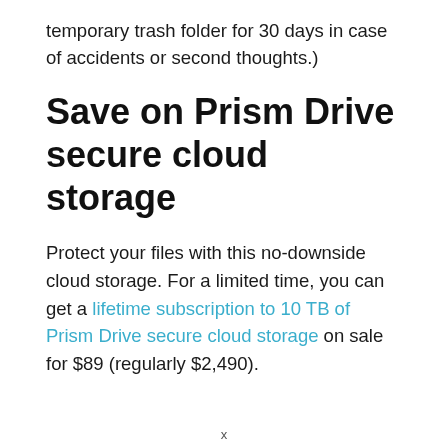temporary trash folder for 30 days in case of accidents or second thoughts.)
Save on Prism Drive secure cloud storage
Protect your files with this no-downside cloud storage. For a limited time, you can get a lifetime subscription to 10 TB of Prism Drive secure cloud storage on sale for $89 (regularly $2,490).